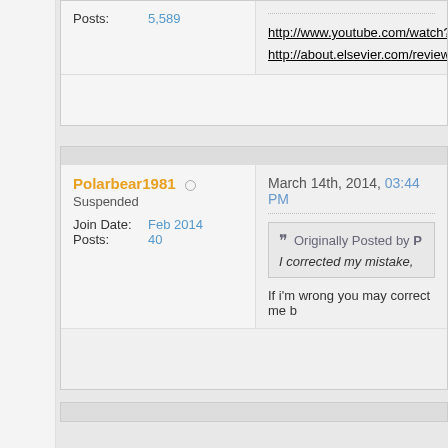Posts: 5,589
http://www.youtube.com/watch?
http://about.elsevier.com/review
Polarbear1981
Suspended
Join Date: Feb 2014
Posts: 40
March 14th, 2014, 03:44 PM
Originally Posted by P
I corrected my mistake,
If i'm wrong you may correct me b